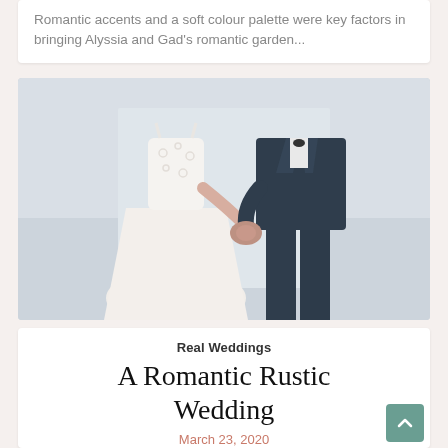Romantic accents and a soft colour palette were key factors in bringing Alyssia and Gad's romantic garden...
[Figure (photo): A bride in a white lace dress and a groom in a dark navy suit holding hands, photographed from the waist down with a light/water background.]
Real Weddings
A Romantic Rustic Wedding
March 23, 2020
To continue the rustic atmosphere of the day, twinkling light...